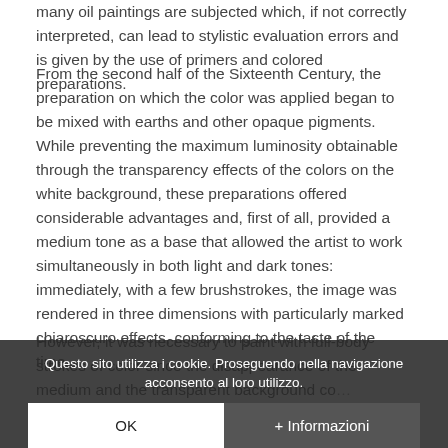many oil paintings are subjected which, if not correctly interpreted, can lead to stylistic evaluation errors and is given by the use of primers and colored preparations.
From the second half of the Sixteenth Century, the preparation on which the color was applied began to be mixed with earths and other opaque pigments. While preventing the maximum luminosity obtainable through the transparency effects of the colors on the white background, these preparations offered considerable advantages and, first of all, provided a medium tone as a base that allowed the artist to work simultaneously in both light and dark tones: immediately, with a few brushstrokes, the image was rendered in three dimensions with particularly marked chiaroscuro effects, conforming to the taste of the time.
However, it was necessary to paint with full-body strokes of color since the disappearance of the medium and the transparent background co... inevitable increase in transparency o... layers of brushstroke.
Questo sito utilizza i cookie. Proseguendo nella navigazione acconsento al loro utilizzo.
OK
+ Informazioni